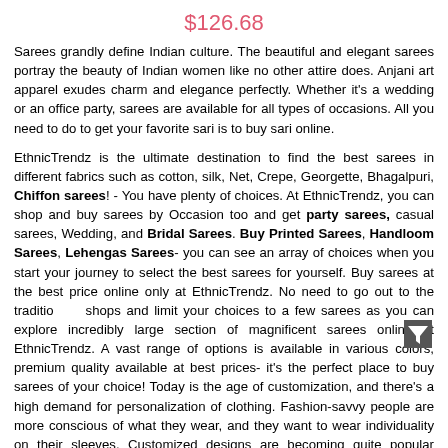$126.68
Sarees grandly define Indian culture. The beautiful and elegant sarees portray the beauty of Indian women like no other attire does. Anjani art apparel exudes charm and elegance perfectly. Whether it's a wedding or an office party, sarees are available for all types of occasions. All you need to do to get your favorite sari is to buy sari online.
EthnicTrendz is the ultimate destination to find the best sarees in different fabrics such as cotton, silk, Net, Crepe, Georgette, Bhagalpuri, Chiffon sarees! - You have plenty of choices. At EthnicTrendz, you can shop and buy sarees by Occasion too and get party sarees, casual sarees, Wedding, and Bridal Sarees. Buy Printed Sarees, Handloom Sarees, Lehengas Sarees- you can see an array of choices when you start your journey to select the best sarees for yourself. Buy sarees at the best price online only at EthnicTrendz. No need to go out to the traditional shops and limit your choices to a few sarees as you can explore an incredibly large section of magnificent sarees online at EthnicTrendz. A vast range of options is available in various colors, premium quality available at best prices- it's the perfect place to buy sarees of your choice! Today is the age of customization, and there’s a high demand for personalization of clothing. Fashion-savvy people are more conscious of what they wear, and they want to wear individuality on their sleeves. Customized designs are becoming quite popular among youngsters and older people alike. At Ethnic Trendz, the several options available will just blow your mind away. You get sarees with intricate and beautiful designs done on them. You can buy designer sarees with 3D prints of flowers, abstract designs, Beads, CutWork, Cut Dana, Mirror Work, Resham Work, Stonework, Zari work, Zardozi work and many more types of